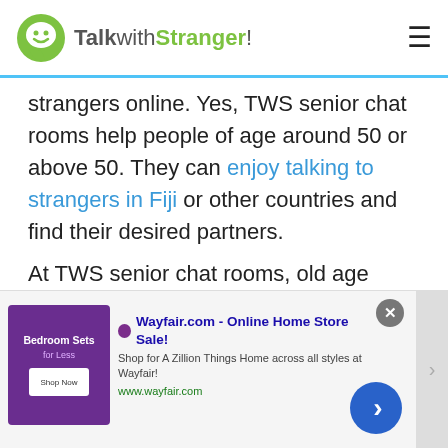TalkwithStranger!
strangers online. Yes, TWS senior chat rooms help people of age around 50 or above 50. They can enjoy talking to strangers in Fiji or other countries and find their desired partners.
At TWS senior chat rooms, old age people can surely find the same age group partners to whom they can share their interests. Isn't it so convenient for seniors to spend their time full of fun and joy? Well, for sure, it is convenient as when no one is available to talk to you in person, virtual hang out will surely work out.
[Figure (screenshot): Wayfair.com advertisement banner: 'Wayfair.com - Online Home Store Sale! Shop for A Zillion Things Home across all styles at Wayfair! www.wayfair.com' with purple bedroom sets image and blue navigation arrow button]